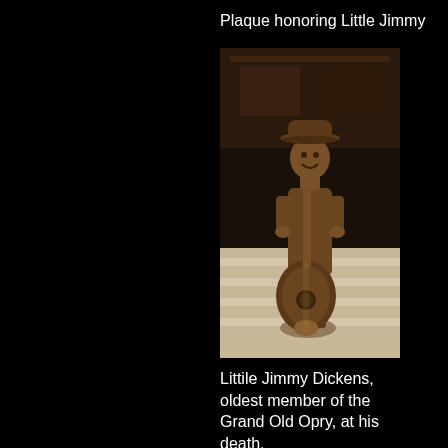Plaque honoring Little Jimmy
[Figure (photo): Bronze statue of Little Jimmy Dickens wearing a cowboy hat, holding something, with a large guitar at his feet, standing on a street/plaza.]
Littile Jimmy Dickens, oldest member of the Grand Old Opry, at his death.